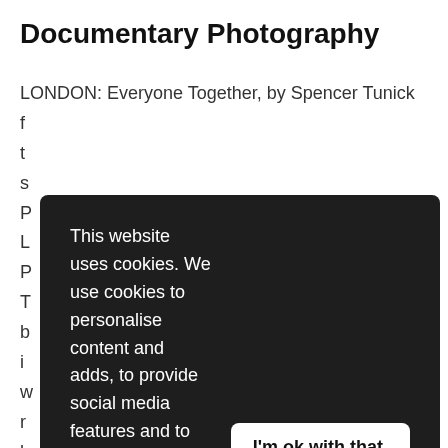Documentary Photography
LONDON: Everyone Together, by Spencer Tunick f t s P L P T b i w r b
This website uses cookies. We use cookies to personalise content and adds, to provide social media features and to analyse our traffic. We also share information about your use of our site with our social media, advertising and analytics partners who may combine it with other information that you've provided to them or that they've collected from your use of their services. Learn more
I'm ok with that.